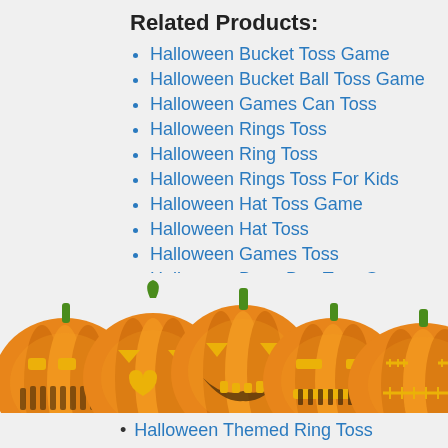Related Products:
Halloween Bucket Toss Game
Halloween Bucket Ball Toss Game
Halloween Games Can Toss
Halloween Rings Toss
Halloween Ring Toss
Halloween Rings Toss For Kids
Halloween Hat Toss Game
Halloween Hat Toss
Halloween Games Toss
Halloween Bean Bag Toss Game
Halloween Hat Ring Toss
Halloween Hat Ring Toss Game
[Figure (illustration): Row of five carved glowing jack-o-lantern pumpkins with different face expressions, orange with green stems]
Halloween Themed Ring Toss